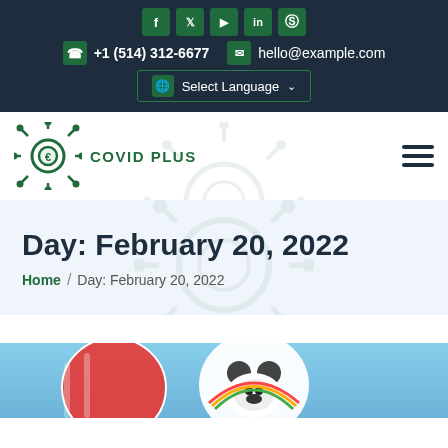Social icons: f, Twitter, YouTube, in, Skype | +1 (514) 312-6677 | hello@example.com | Select Language
[Figure (logo): COVID PLUS logo with green coronavirus icon and text]
Day: February 20, 2022
Home / Day: February 20, 2022
[Figure (photo): Colorful cartoon balloon figures against blue sky, partially visible at bottom of page]